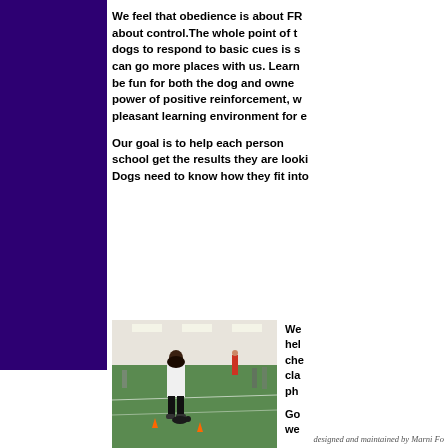[Figure (illustration): Dark purple vertical bar on the left side of the page]
We feel that obedience is about FR… about control.The whole point of t… dogs to respond to basic cues is s… can go more places with us. Learn… be fun for both the dog and owne… power of positive reinforcement, w… pleasant learning environment for e…
Our goal is to help each person … school get the results they are looki… Dogs need to know how they fit into…
[Figure (photo): Indoor dog training facility with a person working with a dog on a green floor, orange cones visible, other people in background]
We… hel… che… cla… ph…

Go… we…
designed and maintained by Marni Fo…